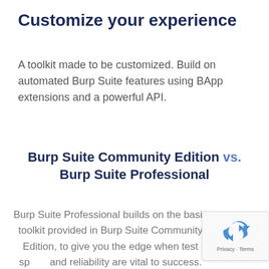Customize your experience
A toolkit made to be customized. Build on automated Burp Suite features using BApp extensions and a powerful API.
Burp Suite Community Edition vs. Burp Suite Professional
Burp Suite Professional builds on the basic toolkit provided in Burp Suite Community Edition, to give you the edge when test speed and reliability are vital to success.
[Figure (logo): reCAPTCHA logo with Privacy and Terms links]